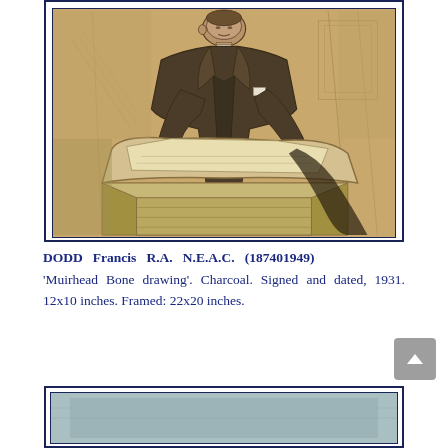[Figure (illustration): Charcoal/pencil portrait drawing of a man (Muirhead Bone) seated at a desk or lectern, leaning forward with papers, wearing a suit. Warm sepia-toned background. Framed with dark navy double border.]
DODD Francis R.A. N.E.A.C. (187401949)
'Muirhead Bone drawing'. Charcoal. Signed and dated, 1931. 12x10 inches. Framed: 22x20 inches.
[Figure (illustration): Bottom portion of another framed artwork, partially visible. Appears to show a landscape or similar artwork with blue-grey tones.]